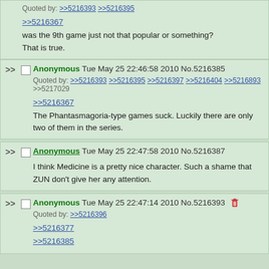Quoted by: >>5216393 >>5216395
>>5216367 was the 9th game just not that popular or something?
That is true.
Anonymous Tue May 25 22:46:58 2010 No.5216385
Quoted by: >>5216393 >>5216395 >>5216397 >>5216404 >>5216893 >>5217029
>>5216367
The Phantasmagoria-type games suck. Luckily there are only two of them in the series.
Anonymous Tue May 25 22:47:58 2010 No.5216387
I think Medicine is a pretty nice character. Such a shame that ZUN don't give her any attention.
Anonymous Tue May 25 22:47:14 2010 No.5216393
Quoted by: >>5216396
>>5216377
>>5216385